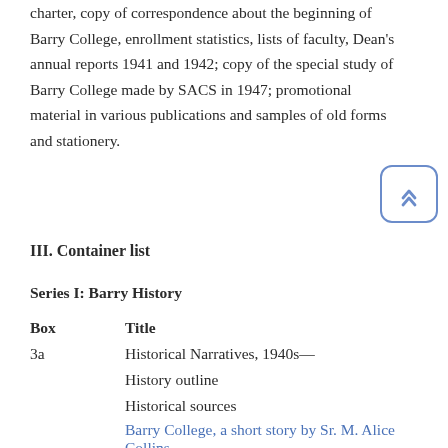charter, copy of correspondence about the beginning of Barry College, enrollment statistics, lists of faculty, Dean's annual reports 1941 and 1942; copy of the special study of Barry College made by SACS in 1947; promotional material in various publications and samples of old forms and stationery.
III. Container list
Series I: Barry History
| Box | Title |
| --- | --- |
| 3a | Historical Narratives, 1940s— |
|  | History outline |
|  | Historical sources |
|  | Barry College, a short story by Sr. M. Alice Collins |